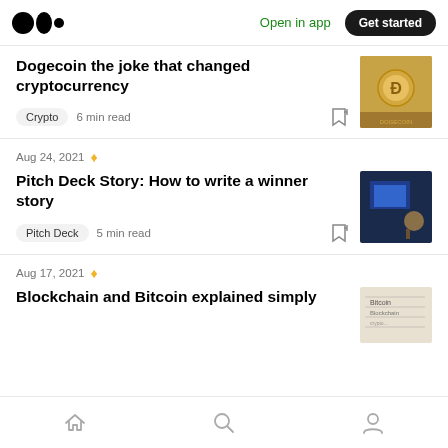Medium logo | Open in app | Get started
Dogecoin the joke that changed cryptocurrency
Crypto · 6 min read
Aug 24, 2021
Pitch Deck Story: How to write a winner story
Pitch Deck · 5 min read
Aug 17, 2021
Blockchain and Bitcoin explained simply
Home | Search | Profile